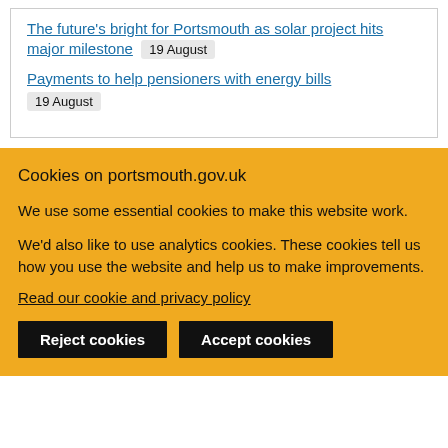The future's bright for Portsmouth as solar project hits major milestone — 19 August
Payments to help pensioners with energy bills — 19 August
Cookies on portsmouth.gov.uk
We use some essential cookies to make this website work.
We'd also like to use analytics cookies. These cookies tell us how you use the website and help us to make improvements.
Read our cookie and privacy policy
Reject cookies
Accept cookies